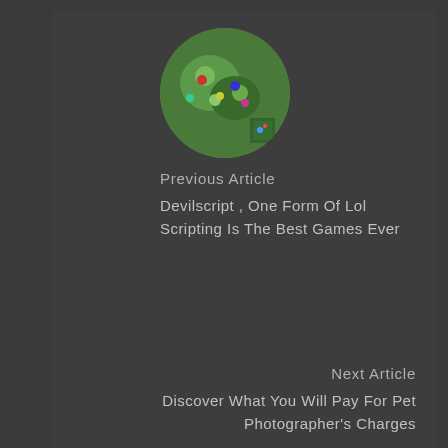[Figure (illustration): Circular thumbnail image of a League of Legends game scene with green background and characters]
Previous Article
Devilscript , One Form Of Lol Scripting Is The Best Games Ever
Next Article
Discover What You Will Pay For Pet Photographer's Charges
[Figure (photo): Circular thumbnail image of a dog dressed in military uniform portrait style]